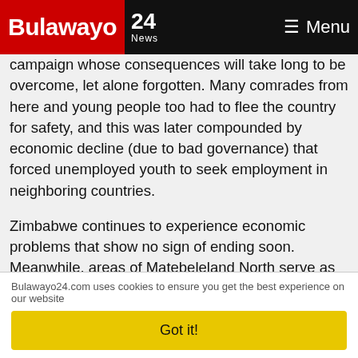Bulawayo 24 News — Menu
campaign whose consequences will take long to be overcome, let alone forgotten. Many comrades from here and young people too had to flee the country for safety, and this was later compounded by economic decline (due to bad governance) that forced unemployed youth to seek employment in neighboring countries.
Zimbabwe continues to experience economic problems that show no sign of ending soon. Meanwhile, areas of Matebeleland North serve as sources of unprocessed raw materials (like timber, minerals and wildlife products) which are extracted and transported elsewhere in the country and abroad. This unbalanced development can be reduced if meaningful devolution is implemented'. Such devolution would ensure that the priorities of the province are set by its
Bulawayo24.com uses cookies to ensure you get the best experience on our website
Got it!